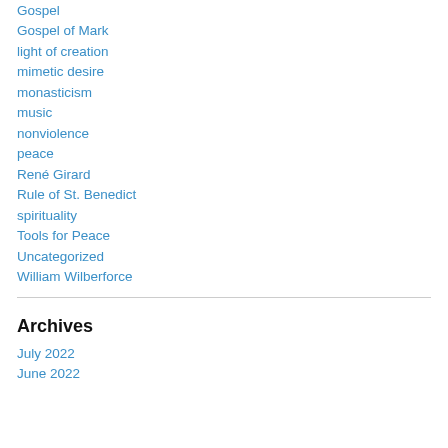Gospel
Gospel of Mark
light of creation
mimetic desire
monasticism
music
nonviolence
peace
René Girard
Rule of St. Benedict
spirituality
Tools for Peace
Uncategorized
William Wilberforce
Archives
July 2022
June 2022